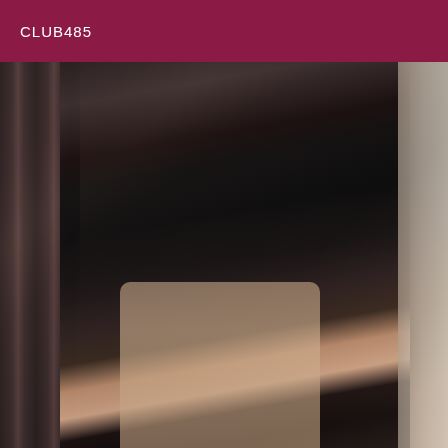CLUB485
[Figure (photo): A woman wearing a black crop top and high-waisted black pencil skirt with a slit, posing near a staircase railing with curtains in the background, viewed from behind/side angle.]